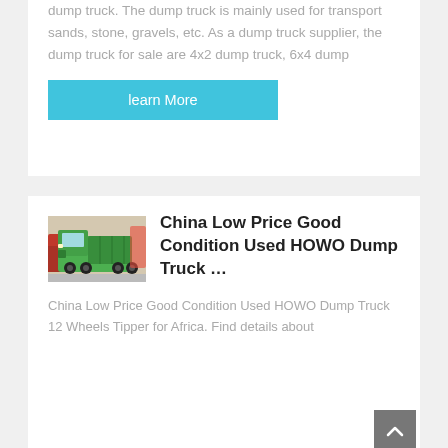dump truck. The dump truck is mainly used for transport sands, stone, gravels, etc. As a dump truck supplier, the dump truck for sale are 4x2 dump truck, 6x4 dump
learn More
[Figure (photo): Green HOWO dump truck parked indoors at an exhibition or showroom, with red trucks visible in background]
China Low Price Good Condition Used HOWO Dump Truck …
China Low Price Good Condition Used HOWO Dump Truck 12 Wheels Tipper for Africa. Find details about